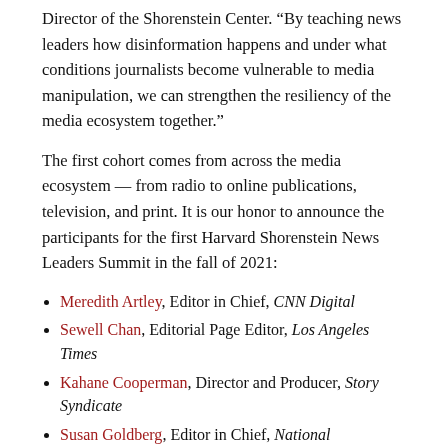Director of the Shorenstein Center. “By teaching news leaders how disinformation happens and under what conditions journalists become vulnerable to media manipulation, we can strengthen the resiliency of the media ecosystem together.”
The first cohort comes from across the media ecosystem — from radio to online publications, television, and print. It is our honor to announce the participants for the first Harvard Shorenstein News Leaders Summit in the fall of 2021:
Meredith Artley, Editor in Chief, CNN Digital
Sewell Chan, Editorial Page Editor, Los Angeles Times
Kahane Cooperman, Director and Producer, Story Syndicate
Susan Goldberg, Editor in Chief, National Geographic
Sara Kehaulani Goo, Executive Editor, Axios
Mat Honan, Executive Editor, Buzzfeed News
Adrienne LaFrance, Executive Editor, The Atlantic
Ron Nixon, Global Investigations Editor, The